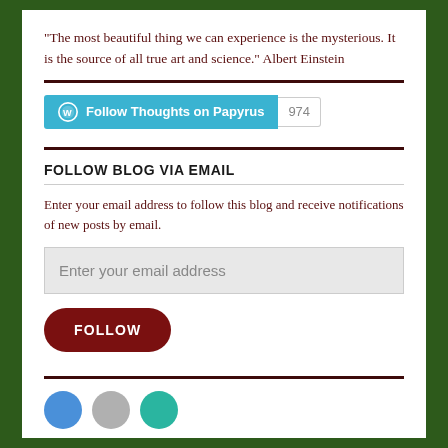“The most beautiful thing we can experience is the mysterious. It is the source of all true art and science.” Albert Einstein
[Figure (other): WordPress Follow button for 'Thoughts on Papyrus' with follower count badge showing 974]
FOLLOW BLOG VIA EMAIL
Enter your email address to follow this blog and receive notifications of new posts by email.
Enter your email address
FOLLOW
[Figure (other): Three circular social media icon buttons: blue, gray, and teal]